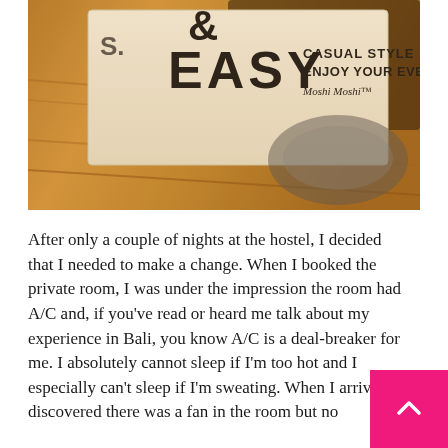[Figure (photo): Photo of a shopping bag or label with text '& EASY CASUAL STYLE ENJOY YOUR EVERYDAY LIFE Moshi Moshi' resting on a wooden surface, with a bowl or rounded object in the background. Instagram-style warm filter.]
After only a couple of nights at the hostel, I decided that I needed to make a change. When I booked the private room, I was under the impression the room had A/C and, if you've read or heard me talk about my experience in Bali, you know A/C is a deal-breaker for me. I absolutely cannot sleep if I'm too hot and I especially can't sleep if I'm sweating. When I arrived I discovered there was a fan in the room but no